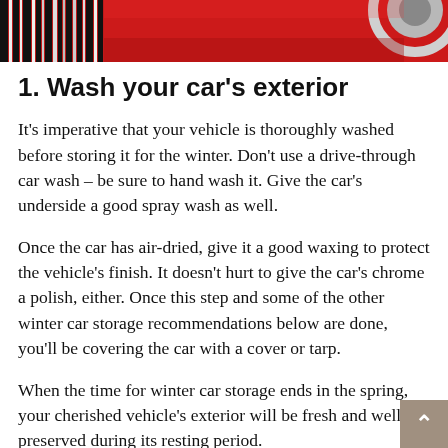[Figure (photo): Close-up photo of a red car exterior with chrome wheel detail, black and white barcode-like graphic on the left side]
1. Wash your car's exterior
It's imperative that your vehicle is thoroughly washed before storing it for the winter. Don't use a drive-through car wash – be sure to hand wash it. Give the car's underside a good spray wash as well.
Once the car has air-dried, give it a good waxing to protect the vehicle's finish. It doesn't hurt to give the car's chrome a polish, either. Once this step and some of the other winter car storage recommendations below are done, you'll be covering the car with a cover or tarp.
When the time for winter car storage ends in the spring, your cherished vehicle's exterior will be fresh and well-preserved during its resting period.